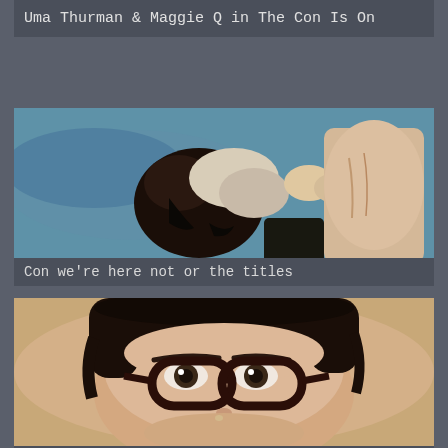Uma Thurman & Maggie Q in The Con Is On
[Figure (photo): Movie scene from The Con Is On, overhead shot showing two figures on a blue surface]
Con we're here not or the titles
[Figure (photo): Close-up photo of a woman with dark hair wearing dark cat-eye glasses, looking up at camera]